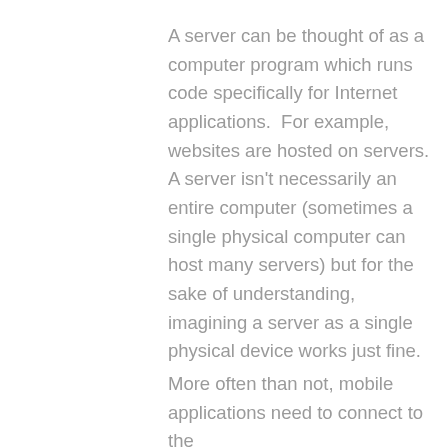A server can be thought of as a computer program which runs code specifically for Internet applications.  For example, websites are hosted on servers.  A server isn't necessarily an entire computer (sometimes a single physical computer can host many servers) but for the sake of understanding, imagining a server as a single physical device works just fine.
More often than not, mobile applications need to connect to the